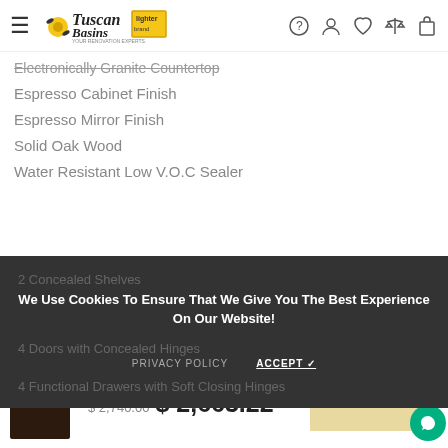Tuscan Basins — navigation header with logo and icons
Electronically Granite Countertop
Espresso Cabinet Finish
Espresso Mirror Finish
Solid Oak Wood
Water Resistant Low V.O.C Sealer
2 Concealed Shelves
4 Doors with Concealed Hinges
4 Functional Drawers with Soft Closing Hinges
We Use Cookies To Ensure That We Give You The Best Experience On Our Website!
PRIVACY POLICY   ACCEPT ✓
$ 2,740.00  $ 2,663.22   SOLD OUT